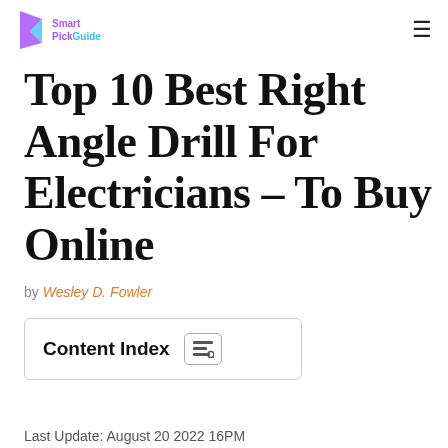Smart PickGuide
Top 10 Best Right Angle Drill For Electricians – To Buy Online
by Wesley D. Fowler
Content Index
Last Update: August 20 2022 16PM